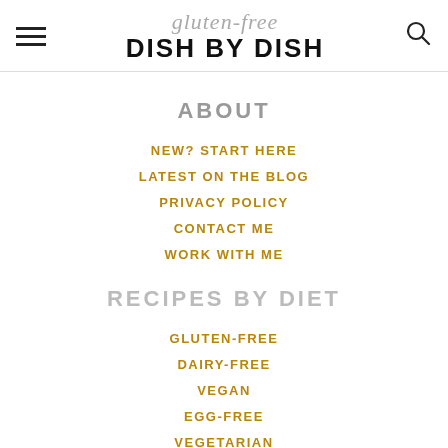gluten-free DISH BY DISH
ABOUT
NEW? START HERE
LATEST ON THE BLOG
PRIVACY POLICY
CONTACT ME
WORK WITH ME
RECIPES BY DIET
GLUTEN-FREE
DAIRY-FREE
VEGAN
EGG-FREE
VEGETARIAN
RECIPES BY COURSE
BREAD RECIPES
APPETIZERS